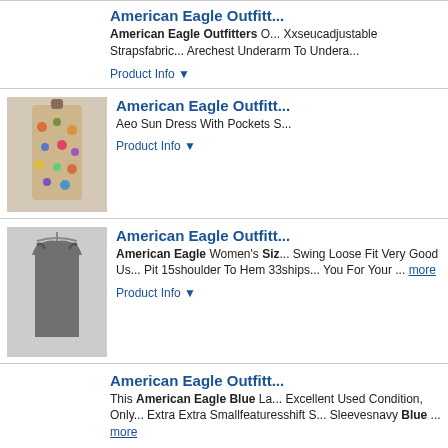[Figure (photo): Product listing image - no image shown for first item]
American Eagle Outfitters
American Eagle Outfitters Xxseucadjustable Strapsfabric Arechest Underarm To Undera
Product Info ▼
[Figure (photo): Floral sun dress on mannequin]
American Eagle Outfitters
Aeo Sun Dress With Pockets S
Product Info ▼
[Figure (photo): Gray tank top on hanger]
American Eagle Outfitters
American Eagle Women's Size Swing Loose Fit Very Good Us Pit 15shoulder To Hem 33ships You For Your ... more
Product Info ▼
American Eagle Outfitters
This American Eagle Blue La Excellent Used Condition, Only Extra Extra Smallfeaturesshift Sleevesnavy Blue ... more
Product Info ▼
[Figure (photo): White/cream garment on mannequin]
American Eagle Outfitters
Purple With Blue, Pink, Oram